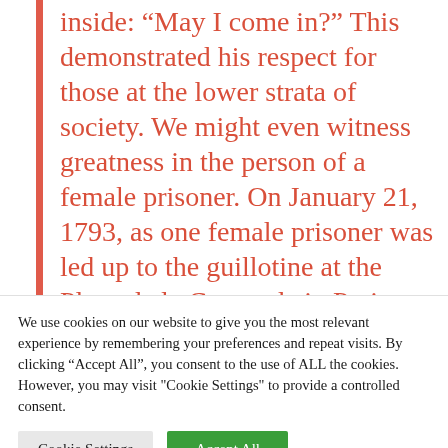inside: “May I come in?” This demonstrated his respect for those at the lower strata of society. We might even witness greatness in the person of a female prisoner. On January 21, 1793, as one female prisoner was led up to the guillotine at the Place de la Concorde in Paris, she inadvertently stepped on the foot of her executioner, and immediately
We use cookies on our website to give you the most relevant experience by remembering your preferences and repeat visits. By clicking “Accept All”, you consent to the use of ALL the cookies. However, you may visit "Cookie Settings" to provide a controlled consent.